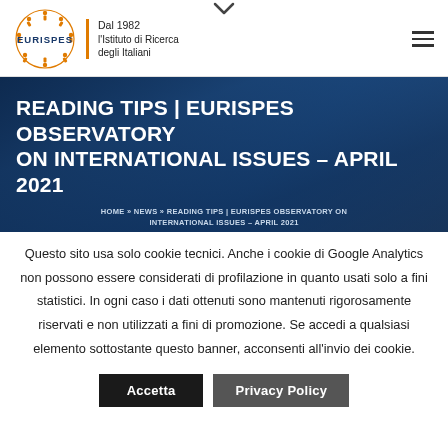[Figure (logo): Eurispes logo with orange circular figures and text 'Dal 1982 l'Istituto di Ricerca degli Italiani']
READING TIPS | EURISPES OBSERVATORY ON INTERNATIONAL ISSUES – APRIL 2021
HOME » NEWS » READING TIPS | EURISPES OBSERVATORY ON INTERNATIONAL ISSUES – APRIL 2021
Questo sito usa solo cookie tecnici. Anche i cookie di Google Analytics non possono essere considerati di profilazione in quanto usati solo a fini statistici. In ogni caso i dati ottenuti sono mantenuti rigorosamente riservati e non utilizzati a fini di promozione. Se accedi a qualsiasi elemento sottostante questo banner, acconsenti all'invio dei cookie.
Accetta | Privacy Policy